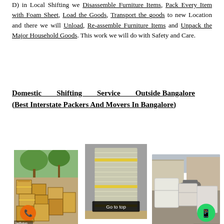D) in Local Shifting we Disassemble Furniture Items, Pack Every Item with Foam Sheet, Load the Goods, Transport the goods to new Location and there we will Unload, Re-assemble Furniture Items and Unpack the Major Household Goods. This work we will do with Safety and Care.
Domestic Shifting Service Outside Bangalore (Best Interstate Packers And Movers In Bangalore)
[Figure (photo): Three photos side by side: left shows packed cardboard boxes outdoors with trees; middle shows shrink-wrapped tall furniture items with yellow tape; right shows white-covered furniture items outdoors with a motorcycle in background. Left image has an orange phone/call button overlay. Middle image has a 'Go to top' button. Right image has a green WhatsApp button overlay.]